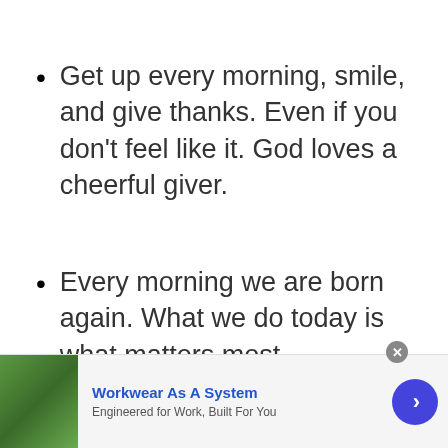Get up every morning, smile, and give thanks. Even if you don't feel like it. God loves a cheerful giver.
Every morning we are born again. What we do today is what matters most.
[Figure (other): Advertisement banner for Workwear As A System with photo of worker in yellow high-visibility shirt, text 'Engineered for Work, Built For You', navigation arrow button, and close button.]